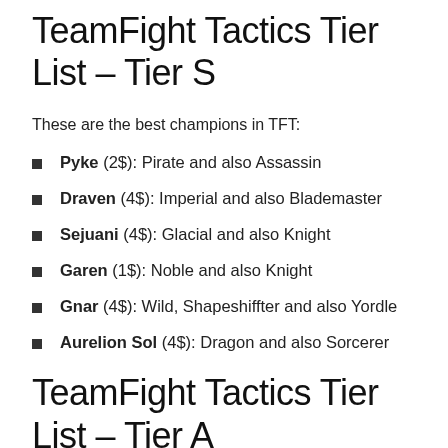TeamFight Tactics Tier List – Tier S
These are the best champions in TFT:
Pyke (2$): Pirate and also Assassin
Draven (4$): Imperial and also Blademaster
Sejuani (4$): Glacial and also Knight
Garen (1$): Noble and also Knight
Gnar (4$): Wild, Shapeshiffter and also Yordle
Aurelion Sol (4$): Dragon and also Sorcerer
TeamFight Tactics Tier List – Tier A
Not the most OP of the game, but still pretty good: